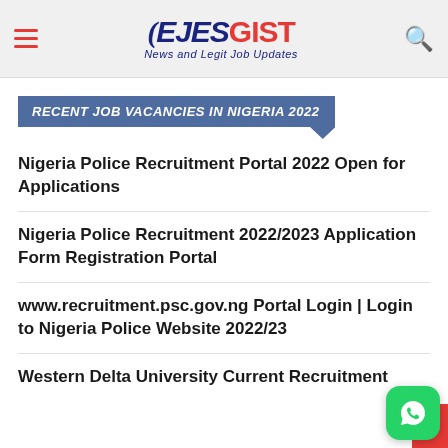EJESGIST - News and Legit Job Updates
RECENT JOB VACANCIES IN NIGERIA 2022
Nigeria Police Recruitment Portal 2022 Open for Applications
Nigeria Police Recruitment 2022/2023 Application Form Registration Portal
www.recruitment.psc.gov.ng Portal Login | Login to Nigeria Police Website 2022/23
Western Delta University Current Recruitment